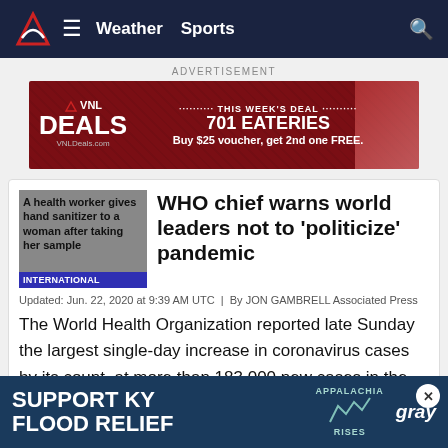Weather  Sports
[Figure (other): VNL Deals advertisement banner: THIS WEEK'S DEAL - 701 EATERIES Buy $25 voucher, get 2nd one FREE. VNLDeals.com]
WHO chief warns world leaders not to 'politicize' pandemic
Updated: Jun. 22, 2020 at 9:39 AM UTC  |  By JON GAMBRELL Associated Press
The World Health Organization reported late Sunday the largest single-day increase in coronavirus cases by its count, at more than 183,000 new cases in the latest 24 hours.
[Figure (other): Bottom advertisement: SUPPORT KY FLOOD RELIEF - APPALACHIA RISES - gray logo]